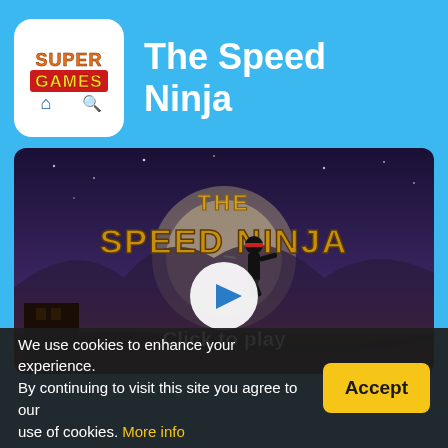[Figure (logo): SuperGames logo: rounded white square with 'SUPER GAMES' text in stylized orange/red font, with home and search icons below]
The Speed Ninja
[Figure (screenshot): Game thumbnail for 'The Speed Ninja' showing a dark night sky background with a silhouette ninja running, a large moon, and the game title in gold lettering. A white circular play button overlay with a blue triangle and 'Click to play' text below.]
We use cookies to enhance your experience. By continuing to visit this site you agree to our use of cookies. More info
Accept